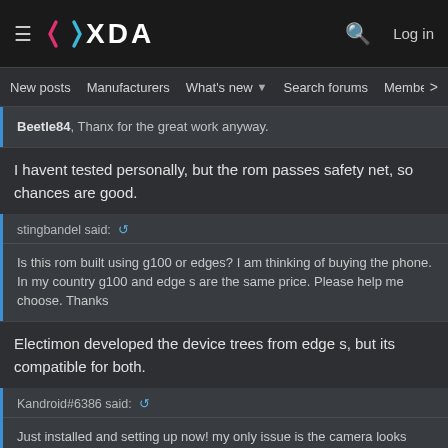XDA — New posts | Manufacturers | What's new | Search forums | Members | Log in
Beetle84, Thanx for the great work anyway.
I havent tested personally, but the rom passes safety net, so chances are good.
stingbandel said: Is this rom built using g100 or edges? I am thinking of buying the phone. In my country g100 and edge s are the same price. Please help me choose. Thanks
Electimon developed the device trees from edge s, but its compatible for both.
Kandroid#6386 said: Just installed and setting up now! my only issue is the camera looks strange no matter the app. Any way to fix this?